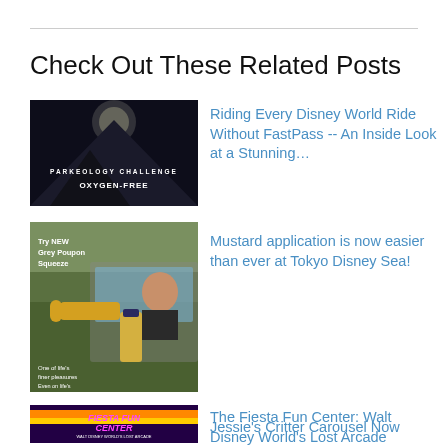Check Out These Related Posts
[Figure (photo): Dark image showing a mountain silhouette with text PARKEOLOGY CHALLENGE OXYGEN-FREE]
Riding Every Disney World Ride Without FastPass -- An Inside Look at a Stunning…
[Figure (photo): Grey Poupon mustard advertisement parody image showing Try NEW Grey Poupon Squeeze, One of life's finer pleasures, Even on life's simpler pleasures]
Mustard application is now easier than ever at Tokyo Disney Sea!
[Figure (photo): Fiesta Fun Center arcade sign, Walt Disney World's Lost Arcade and Hidden Shooting Gallery]
The Fiesta Fun Center: Walt Disney World's Lost Arcade
Jessie's Critter Carousel Now